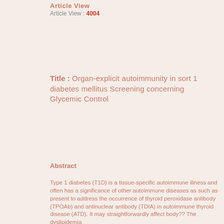Article View : 4004
Title : Organ-explicit autoimmunity in sort 1 diabetes mellitus Screening concerning Glycemic Control
Abstract
Type 1 diabetes (T1D) is a tissue-specific autoimmune illness and often has a significance of other autoimmune diseases as such as present to address the occurrence of thyroid peroxidase antibody (TPOAb) and antinuclear antibody (TDIA) in autoimmune thyroid disease (ATD). It may straightforwardly affect body?? The dyslipidemia